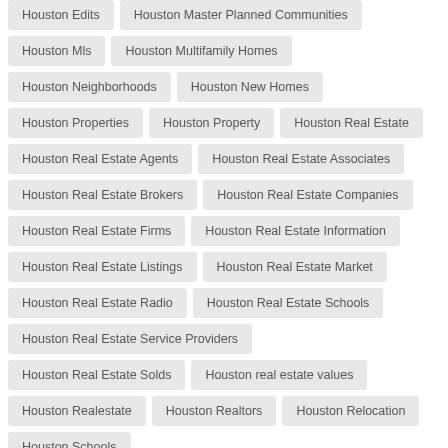Houston Edits
Houston Master Planned Communities
Houston Mls
Houston Multifamily Homes
Houston Neighborhoods
Houston New Homes
Houston Properties
Houston Property
Houston Real Estate
Houston Real Estate Agents
Houston Real Estate Associates
Houston Real Estate Brokers
Houston Real Estate Companies
Houston Real Estate Firms
Houston Real Estate Information
Houston Real Estate Listings
Houston Real Estate Market
Houston Real Estate Radio
Houston Real Estate Schools
Houston Real Estate Service Providers
Houston Real Estate Solds
Houston real estate values
Houston Realestate
Houston Realtors
Houston Relocation
Houston Schools